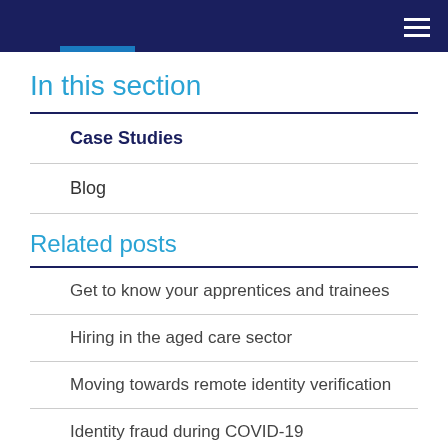In this section
Case Studies
Blog
Related posts
Get to know your apprentices and trainees
Hiring in the aged care sector
Moving towards remote identity verification
Identity fraud during COVID-19